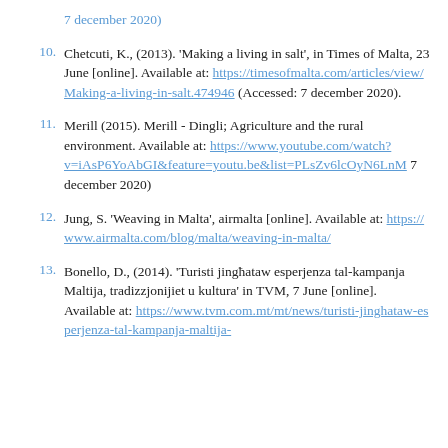7 december 2020)
10. Chetcuti, K., (2013). 'Making a living in salt', in Times of Malta, 23 June [online]. Available at: https://timesofmalta.com/articles/view/Making-a-living-in-salt.474946 (Accessed: 7 december 2020).
11. Merill (2015). Merill - Dingli; Agriculture and the rural environment. Available at: https://www.youtube.com/watch?v=iAsP6YoAbGI&feature=youtu.be&list=PLsZv6lcOyN6LnM 7 december 2020)
12. Jung, S. 'Weaving in Malta', airmalta [online]. Available at: https://www.airmalta.com/blog/malta/weaving-in-malta/
13. Bonello, D., (2014). 'Turisti jingħataw esperjenza tal-kampanja Maltija, tradizzjonijiet u kultura' in TVM, 7 June [online]. Available at: https://www.tvm.com.mt/mt/news/turisti-jinghataw-esperjenza-tal-kampanja-maltija-